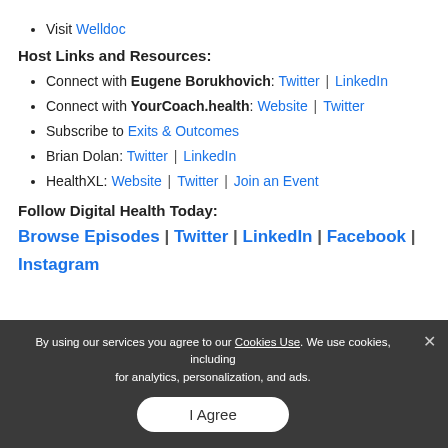Visit Welldoc
Host Links and Resources:
Connect with Eugene Borukhovich: Twitter | LinkedIn
Connect with YourCoach.health: Website | Twitter
Subscribe to Exits & Outcomes
Brian Dolan: Twitter | LinkedIn
HealthXL: Website | Twitter | Join an Event
Follow Digital Health Today:
Browse Episodes | Twitter | LinkedIn | Facebook | Instagram
By using our services you agree to our Cookies Use. We use cookies, including for analytics, personalization, and ads.